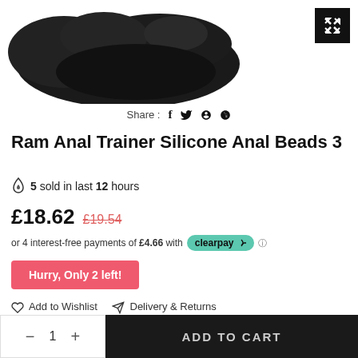[Figure (photo): Product photo of Ram Anal Trainer Silicone Anal Beads 3, dark/black colored object on white background, partially cropped. Expand button (black square with diagonal arrows) in top right.]
Share :  f  (twitter bird)  (pinterest)
Ram Anal Trainer Silicone Anal Beads 3
5 sold in last 12 hours
£18.62  £19.54
or 4 interest-free payments of £4.66 with clearpay
Hurry, Only 2 left!
Add to Wishlist   Delivery & Returns
— 1 +   ADD TO CART